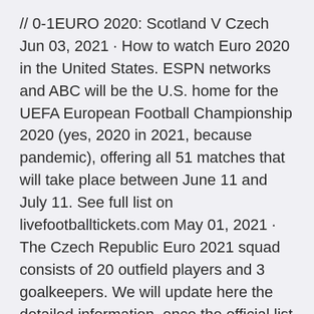// 0-1EURO 2020: Scotland V Czech Jun 03, 2021 · How to watch Euro 2020 in the United States. ESPN networks and ABC will be the U.S. home for the UEFA European Football Championship 2020 (yes, 2020 in 2021, because pandemic), offering all 51 matches that will take place between June 11 and July 11. See full list on livefootballtickets.com May 01, 2021 · The Czech Republic Euro 2021 squad consists of 20 outfield players and 3 goalkeepers. We will update here the detailed information, once the official list of players team is announced for the Czech Republic.